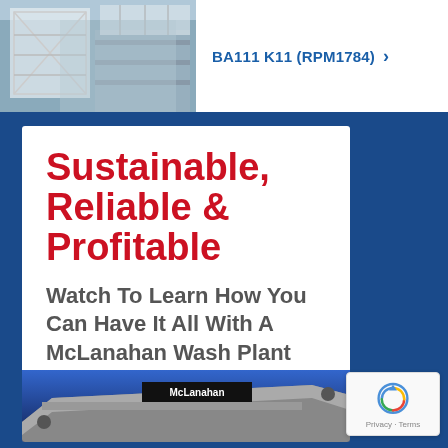[Figure (photo): Industrial equipment or wash plant facility, gray steel structure with scaffolding]
BA111 K11 (RPM1784) ›
[Figure (infographic): McLanahan wash plant advertisement card with red bold title 'Sustainable, Reliable & Profitable', subtitle 'Watch To Learn How You Can Have It All With A McLanahan Wash Plant', McLanahan logo, and equipment photo at bottom]
Sustainable, Reliable & Profitable
Watch To Learn How You Can Have It All With A McLanahan Wash Plant
[Figure (logo): McLanahan logo with circular globe/sphere icon and bold McLanahan wordmark]
[Figure (photo): McLanahan equipment/conveyor at bottom of ad card]
[Figure (other): reCAPTCHA badge with Privacy · Terms text]